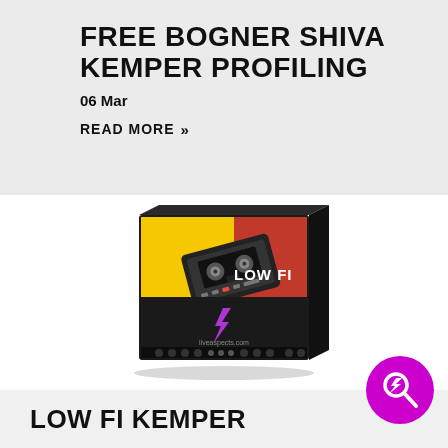FREE BOGNER SHIVA KEMPER PROFILING
06 Mar
READ MORE »
[Figure (photo): Product box for LOW FI Kemper pack showing a cassette tape graphic on yellow/red background with hardware equipment at the bottom and a purple lightning bolt logo]
LOW FI KEMPER